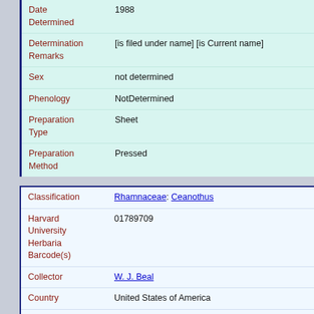| Field | Value |
| --- | --- |
| Date Determined | 1988 |
| Determination Remarks | [is filed under name] [is Current name] |
| Sex | not determined |
| Phenology | NotDetermined |
| Preparation Type | Sheet |
| Preparation Method | Pressed |
| Field | Value |
| --- | --- |
| Classification | Rhamnaceae: Ceanothus |
| Harvard University Herbaria Barcode(s) | 01789709 |
| Collector | W. J. Beal |
| Country | United States of America |
| State | Michigan |
| Geography | North America: North America (CA, US, MX) (Region): United States of America: Michigan: Ingham County |